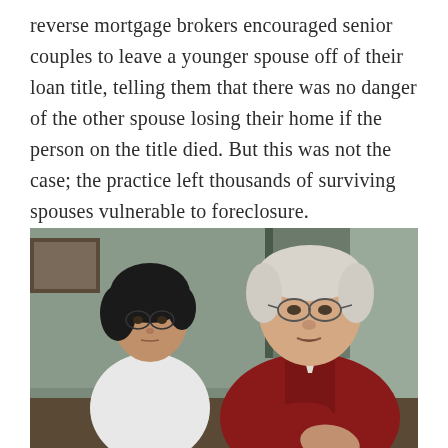reverse mortgage brokers encouraged senior couples to leave a younger spouse off of their loan title, telling them that there was no danger of the other spouse losing their home if the person on the title died. But this was not the case; the practice left thousands of surviving spouses vulnerable to foreclosure.
[Figure (photo): An elderly Asian woman in a white shirt and an elderly white man in a dark red/maroon long-sleeve shirt sit together, the man appearing to speak or look down, the woman looking forward with a serious expression.]